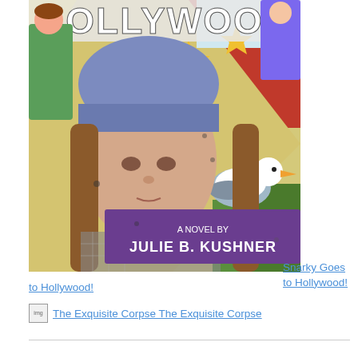[Figure (illustration): Book cover for 'Snarky Goes to Hollywood!' — a novel by Julie B. Kushner. Features a young woman in a blue beanie hat with long brown hair and a plaid jacket, set against a colorful illustrated Hollywood background with stars, a seagull, chairs, and cartoon figures. The title 'HOLLYWOOD' appears prominently at the top, and a purple banner at the bottom reads 'A NOVEL BY JULIE B. KUSHNER'.]
Snarky Goes to Hollywood!
The Exquisite Corpse The Exquisite Corpse